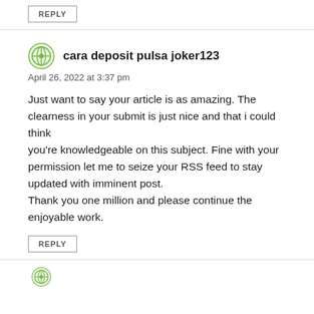REPLY
cara deposit pulsa joker123
April 26, 2022 at 3:37 pm
Just want to say your article is as amazing. The clearness in your submit is just nice and that i could think you're knowledgeable on this subject. Fine with your permission let me to seize your RSS feed to stay updated with imminent post.
Thank you one million and please continue the enjoyable work.
REPLY